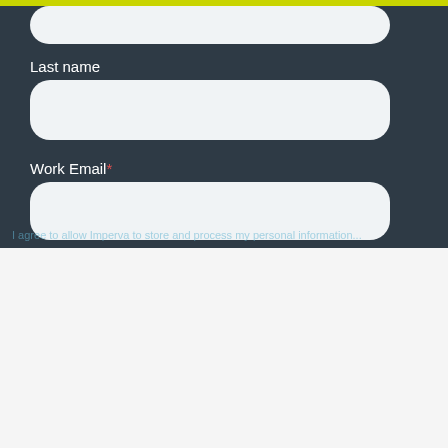Last name
Work Email*
This website stores cookies on your computer. These cookies are used to collect information about how you interact with our website and allow us to remember you. We use this information in order to improve and customize your browsing experience and for analytics and metrics about our visitors both on this website and other media. To find out more about the cookies we use, see our Privacy Policy
Accept